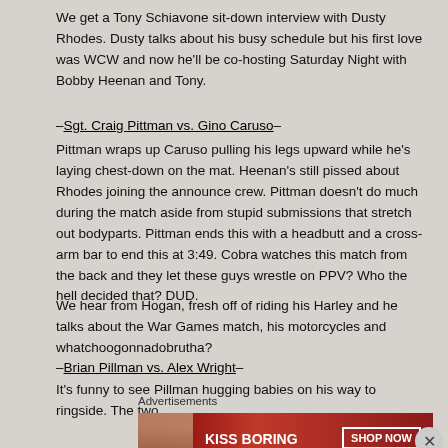We get a Tony Schiavone sit-down interview with Dusty Rhodes. Dusty talks about his busy schedule but his first love was WCW and now he'll be co-hosting Saturday Night with Bobby Heenan and Tony.
–Sgt. Craig Pittman vs. Gino Caruso– Pittman wraps up Caruso pulling his legs upward while he's laying chest-down on the mat. Heenan's still pissed about Rhodes joining the announce crew. Pittman doesn't do much during the match aside from stupid submissions that stretch out bodyparts. Pittman ends this with a headbutt and a cross-arm bar to end this at 3:49. Cobra watches this match from the back and they let these guys wrestle on PPV? Who the hell decided that? DUD.
We hear from Hogan, fresh off of riding his Harley and he talks about the War Games match, his motorcycles and whatchoogonnadobrutha?
–Brian Pillman vs. Alex Wright– It's funny to see Pillman hugging babies on his way to ringside. The two
Advertisements
[Figure (other): Macy's advertisement banner: 'KISS BORING LIPS GOODBYE' with SHOP NOW button and Macy's star logo, dark red background with woman's face]